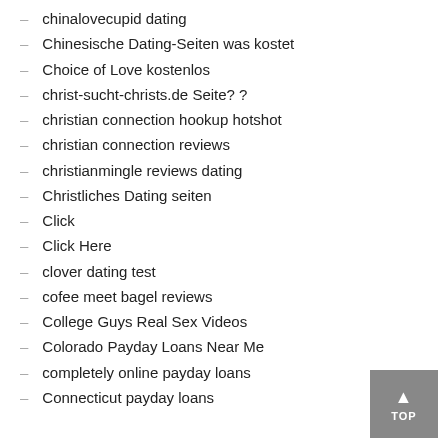chinalovecupid dating
Chinesische Dating-Seiten was kostet
Choice of Love kostenlos
christ-sucht-christs.de Seite? ?
christian connection hookup hotshot
christian connection reviews
christianmingle reviews dating
Christliches Dating seiten
Click
Click Here
clover dating test
cofee meet bagel reviews
College Guys Real Sex Videos
Colorado Payday Loans Near Me
completely online payday loans
Connecticut payday loans